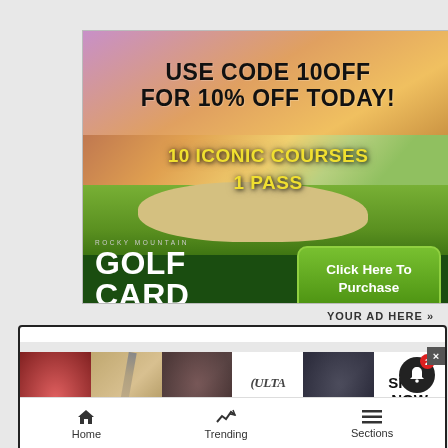[Figure (infographic): Rocky Mountain Golf Card advertisement. Top section shows 'USE CODE 10OFF FOR 10% OFF TODAY!' in large black bold text on a warm gradient background. Middle shows a golf course scenic photo with text '10 ICONIC COURSES 1 PASS' in yellow. Bottom dark green section shows 'ROCKY MOUNTAIN GOLF CARD YOUR PASS TO PLAY MORE' logo and a 'Click Here To Purchase' green button.]
YOUR AD HERE »
[Figure (screenshot): Website screenshot showing a beauty/cosmetics advertisement strip with multiple panels: red lips with brush, makeup brush close-up, eye close-up, Ulta Beauty logo, another eye close-up, and 'SHOP NOW' text. A bell notification icon with badge showing '2' is visible, plus an X close button.]
Home
Trending
Sections